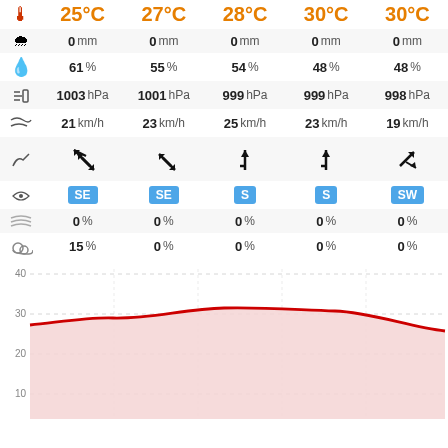| Icon | Col1 | Col2 | Col3 | Col4 | Col5 |
| --- | --- | --- | --- | --- | --- |
| 🌡️ | 25°C | 27°C | 28°C | 30°C | 30°C |
| 🌧️ | 0 mm | 0 mm | 0 mm | 0 mm | 0 mm |
| 💧 | 61 % | 55 % | 54 % | 48 % | 48 % |
| // | 1003 hPa | 1001 hPa | 999 hPa | 999 hPa | 998 hPa |
| wind | 21 km/h | 23 km/h | 25 km/h | 23 km/h | 19 km/h |
| arrow | ↖ | ↖ | ↑ | ↑ | ↗ |
| dir | SE | SE | S | S | SW |
| fog | 0 % | 0 % | 0 % | 0 % | 0 % |
| cloud | 15 % | 0 % | 0 % | 0 % | 0 % |
[Figure (area-chart): Area chart showing temperature curve from ~25°C rising to ~30°C then falling to ~23.5°C, with light red fill and red line, y-axis from 0 to 40 with gridlines at 10,20,30,40]